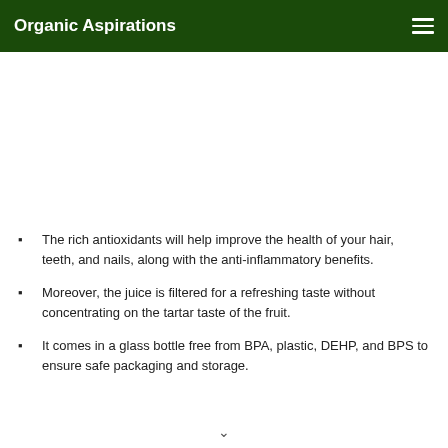Organic Aspirations
The rich antioxidants will help improve the health of your hair, teeth, and nails, along with the anti-inflammatory benefits.
Moreover, the juice is filtered for a refreshing taste without concentrating on the tartar taste of the fruit.
It comes in a glass bottle free from BPA, plastic, DEHP, and BPS to ensure safe packaging and storage.